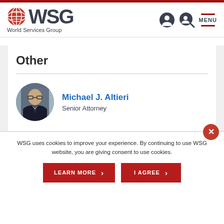WSG World Services Group
Other
[Figure (photo): Circular headshot of Michael J. Altieri, a man in glasses wearing a dark suit and tie]
Michael J. Altieri
Senior Attorney
WSG uses cookies to improve your experience. By continuing to use WSG website, you are giving consent to use cookies.
LEARN MORE   I AGREE